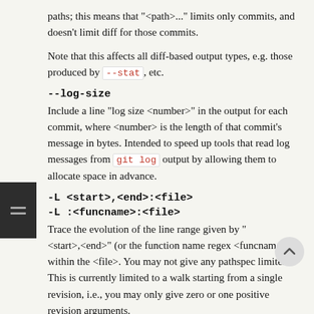paths; this means that "<path>..." limits only commits, and doesn't limit diff for those commits.
Note that this affects all diff-based output types, e.g. those produced by --stat, etc.
--log-size
Include a line "log size <number>" in the output for each commit, where <number> is the length of that commit's message in bytes. Intended to speed up tools that read log messages from git log output by allowing them to allocate space in advance.
-L <start>,<end>:<file>
-L :<funcname>:<file>
Trace the evolution of the line range given by "<start>,<end>" (or the function name regex <funcname>) within the <file>. You may not give any pathspec limiters. This is currently limited to a walk starting from a single revision, i.e., you may only give zero or one positive revision arguments.